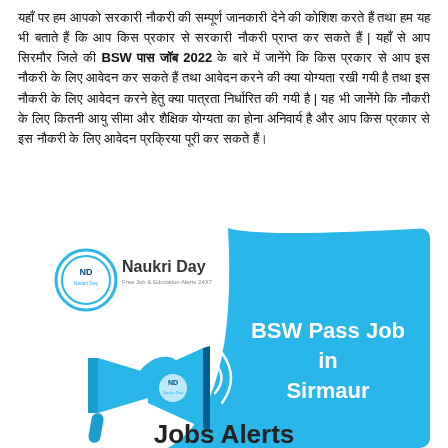Hindi text paragraph about BSW Pass Job in Sirmaur 2022 and related job/education alerts from Naukri Day.
[Figure (illustration): Naukri Day branded banner image featuring a megaphone illustration with text 'BSW Pass Job in Sirmaur' on a blue background, with 'Jobs Alerts' partially visible at the bottom. The Naukri Day logo (ND circular logo with text 'Naukri Day - Free Job & Education Alerts 24x7') appears in the top-left.]